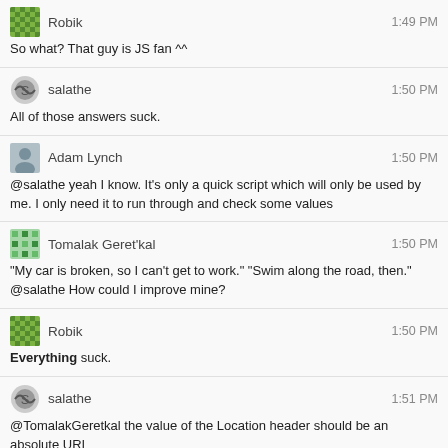Robik — 1:49 PM — So what? That guy is JS fan ^^
salathe — 1:50 PM — All of those answers suck.
Adam Lynch — 1:50 PM — @salathe yeah I know. It's only a quick script which will only be used by me. I only need it to run through and check some values
Tomalak Geret'kal — 1:50 PM — "My car is broken, so I can't get to work." "Swim along the road, then." @salathe How could I improve mine?
Robik — 1:50 PM — Everything suck.
salathe — 1:51 PM — @TomalakGeretkal the value of the Location header should be an absolute URI and you don't explain why his code was broken, which is the question being asked.
Christian Sciberras — 1:54 PM — @salathe Wow, and they haven't suggested rebooting the client pc yet (could have been a virus!)?
Feeds — 1:54 PM — PHPDeveloper.org: Voices of the ElePHPant: